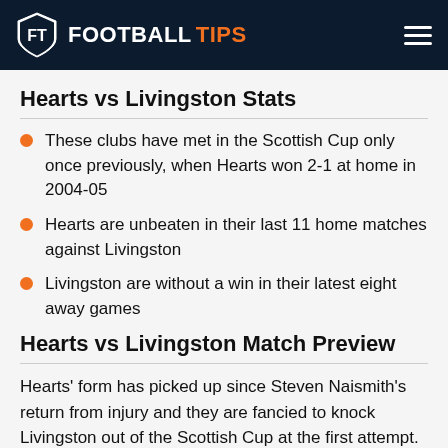FOOTBALL TIPS
Hearts vs Livingston Stats
These clubs have met in the Scottish Cup only once previously, when Hearts won 2-1 at home in 2004-05
Hearts are unbeaten in their last 11 home matches against Livingston
Livingston are without a win in their latest eight away games
Hearts vs Livingston Match Preview
Hearts' form has picked up since Steven Naismith's return from injury and they are fancied to knock Livingston out of the Scottish Cup at the first attempt.
Naismith, who has been on loan from Norwich for the last 12